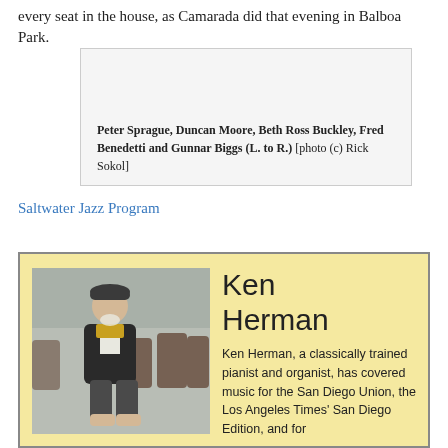every seat in the house, as Camarada did that evening in Balboa Park.
[Figure (photo): Group photo placeholder box with caption: Peter Sprague, Duncan Moore, Beth Ross Buckley, Fred Benedetti and Gunnar Biggs (L. to R.) [photo (c) Rick Sokol]]
Peter Sprague, Duncan Moore, Beth Ross Buckley, Fred Benedetti and Gunnar Biggs (L. to R.) [photo (c) Rick Sokol]
Saltwater Jazz Program
[Figure (photo): Photo of Ken Herman, a man in a dark jacket and beret sitting among theatre seats]
Ken Herman
Ken Herman, a classically trained pianist and organist, has covered music for the San Diego Union, the Los Angeles Times' San Diego Edition, and for